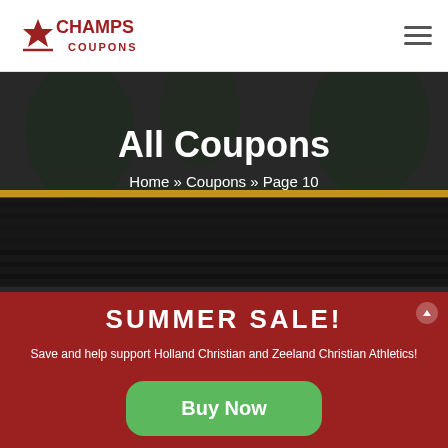CHAMPS COUPONS
[Figure (photo): Blurred outdoor background photo showing dark metal fencing/bleachers with trees in background and a yellow stripe]
All Coupons
Home » Coupons » Page 10
SUMMER SALE!
Save and help support Holland Christian and Zeeland Christian Athletics!
Buy Now